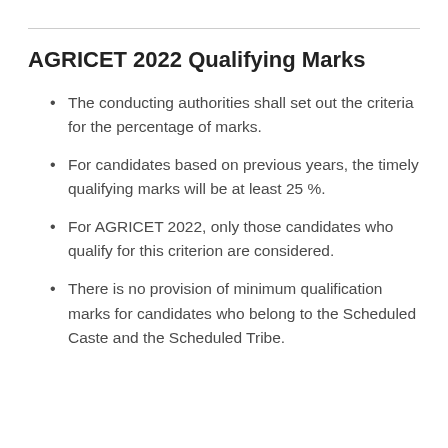AGRICET 2022 Qualifying Marks
The conducting authorities shall set out the criteria for the percentage of marks.
For candidates based on previous years, the timely qualifying marks will be at least 25 %.
For AGRICET 2022, only those candidates who qualify for this criterion are considered.
There is no provision of minimum qualification marks for candidates who belong to the Scheduled Caste and the Scheduled Tribe.